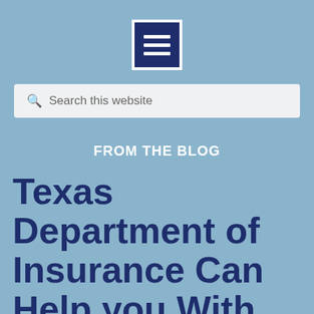[Figure (logo): Dark navy blue square icon with three horizontal white lines (hamburger/menu icon) with white border]
Search this website
FROM THE BLOG
Texas Department of Insurance Can Help you With Your Insurance